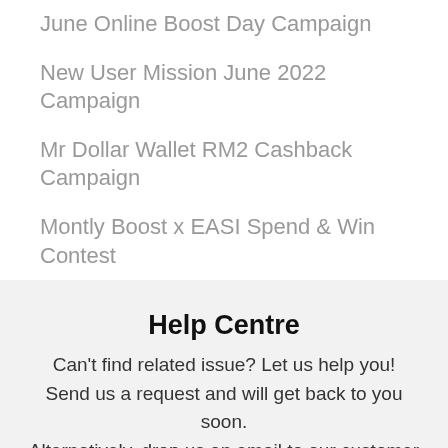June Online Boost Day Campaign
New User Mission June 2022 Campaign
Mr Dollar Wallet RM2 Cashback Campaign
Montly Boost x EASI Spend & Win Contest
Help Centre
Can't find related issue? Let us help you! Send us a request and will get back to you soon. Alternatively, drop us an email to our customer service at support@myboost.com.my